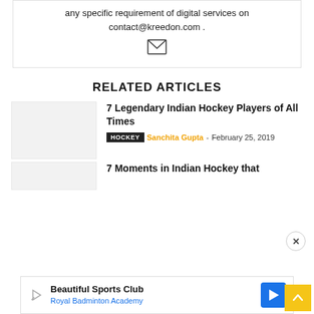any specific requirement of digital services on contact@kreedon.com .
[Figure (illustration): Envelope/mail icon]
RELATED ARTICLES
7 Legendary Indian Hockey Players of All Times
HOCKEY  Sanchita Gupta - February 25, 2019
7 Moments in Indian Hockey that
[Figure (infographic): Advertisement: Beautiful Sports Club - Royal Badminton Academy]